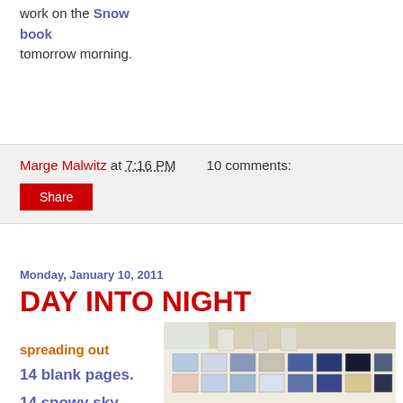work on the Snow book tomorrow morning.
Marge Malwitz at 7:16 PM    10 comments:
Share
Monday, January 10, 2011
DAY INTO NIGHT
spreading out
14 blank pages.
14 snowy sky fabrics
[Figure (photo): Photo of fabric swatches and material samples spread out on a white table, showing various blue, white, and patterned fabrics arranged in rows]